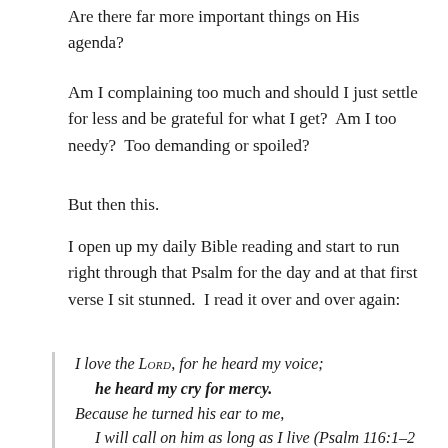Are there far more important things on His agenda?
Am I complaining too much and should I just settle for less and be grateful for what I get?  Am I too needy?  Too demanding or spoiled?
But then this.
I open up my daily Bible reading and start to run right through that Psalm for the day and at that first verse I sit stunned.  I read it over and over again:
I love the LORD, for he heard my voice; he heard my cry for mercy. Because he turned his ear to me, I will call on him as long as I live (Psalm 116:1–2 NIV).